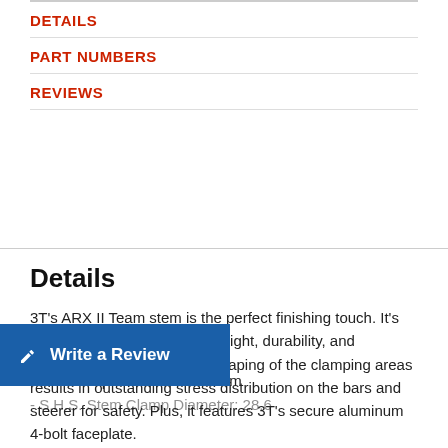DETAILS
PART NUMBERS
REVIEWS
Details
3T's ARX II Team stem is the perfect finishing touch. It's made of aluminum for light weight, durability, and excellent stiffness. Refined shaping of the clamping areas results in outstanding stress distribution on the bars and steerer for safety. Plus, it features 3T's secure aluminum 4-bolt faceplate.
- Aluminum stem with 40mm stack height
- Single M6 bolt clamps stem to fork steerer
- Bar Clamp Diameter: 31.8 mm
- S.H.S. Stem Clamp Diameter: 28.6